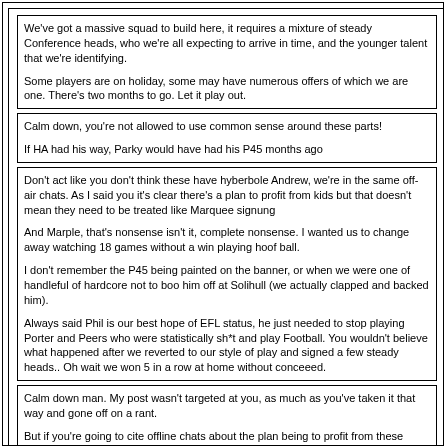We've got a massive squad to build here, it requires a mixture of steady Conference heads, who we're all expecting to arrive in time, and the younger talent that we're identifying.

Some players are on holiday, some may have numerous offers of which we are one. There's two months to go. Let it play out.
Calm down, you're not allowed to use common sense around these parts!

If HA had his way, Parky would have had his P45 months ago
Don't act like you don't think these have hyberbole Andrew, we're in the same off-air chats. As I said you it's clear there's a plan to profit from kids but that doesn't mean they need to be treated like Marquee signung

And Marple, that's nonsense isn't it, complete nonsense. I wanted us to change away watching 18 games without a win playing hoof ball.

I don't remember the P45 being painted on the banner, or when we were one of handleful of hardcore not to boo him off at Solihull (we actually clapped and backed him).

Always said Phil is our best hope of EFL status, he just needed to stop playing Porter and Peers who were statistically sh*t and play Football. You wouldn't believe what happened after we reverted to our style of play and signed a few steady heads.. Oh wait we won 5 in a row at home without conceeed.
Calm down man. My post wasn't targeted at you, as much as you've taken it that way and gone off on a rant.

But if you're going to cite offline chats about the plan being to profit from these recent signings, perhaps you should post those thoughts on here instead, as opposed to calling them damp squibs, which is doing nothing to improve the way some of the contributors view you on here.
I'm not arsed how people view me, strong opinions will do that. But I won't have